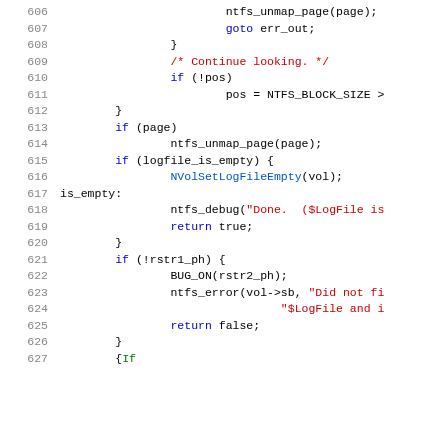[Figure (screenshot): Source code listing showing C code lines 606-627 with syntax highlighting. Line numbers in grey on the left, keywords in blue, strings/comments in red, function calls in green/blue, and regular code in black.]